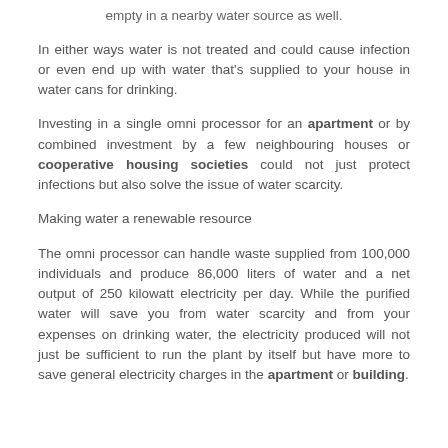empty in a nearby water source as well.
In either ways water is not treated and could cause infection or even end up with water that's supplied to your house in water cans for drinking.
Investing in a single omni processor for an apartment or by combined investment by a few neighbouring houses or cooperative housing societies could not just protect infections but also solve the issue of water scarcity.
Making water a renewable resource
The omni processor can handle waste supplied from 100,000 individuals and produce 86,000 liters of water and a net output of 250 kilowatt electricity per day. While the purified water will save you from water scarcity and from your expenses on drinking water, the electricity produced will not just be sufficient to run the plant by itself but have more to save general electricity charges in the apartment or building.